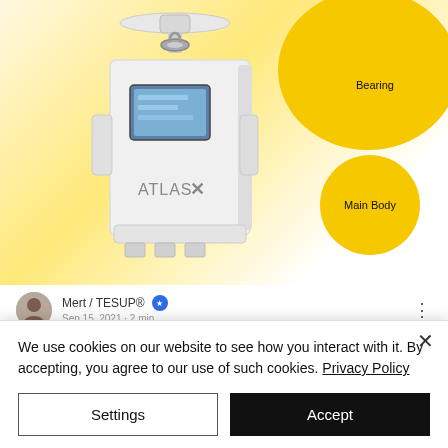[Figure (photo): White wind turbine controller device labeled 'ATLAS X' with LCD display screen, bearing at top, shown against yellow and white gradient background. Two yellow circular callout bubbles label 'Bearing' (top right) and 'Main Body' (middle right).]
Mert / TESUP® ⭐ Sep 15, 2021 · 2 min
We use cookies on our website to see how you interact with it. By accepting, you agree to our use of such cookies. Privacy Policy
Settings
Accept